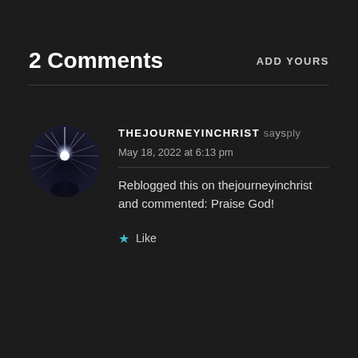2 Comments
ADD YOURS
THEJOURNEYINCHRIST says Reply
May 18, 2022 at 6:13 pm
Reblogged this on thejourneyinchrist and commented: Praise God!
Like